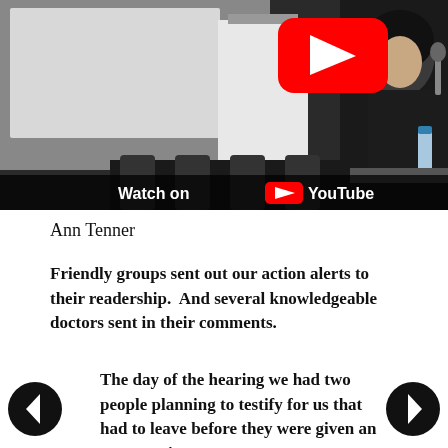[Figure (screenshot): Video thumbnail showing a woman speaking at a panel or hearing, with a whiteboard and flip chart in the background. A YouTube play button overlay (red rounded rectangle with white triangle) appears in the upper center. A 'Watch on YouTube' bar appears at the bottom of the video frame.]
Ann Tenner
Friendly groups sent out our action alerts to their readership.  And several knowledgeable doctors sent in their comments.
The day of the hearing we had two people planning to testify for us that had to leave before they were given an opportunity to